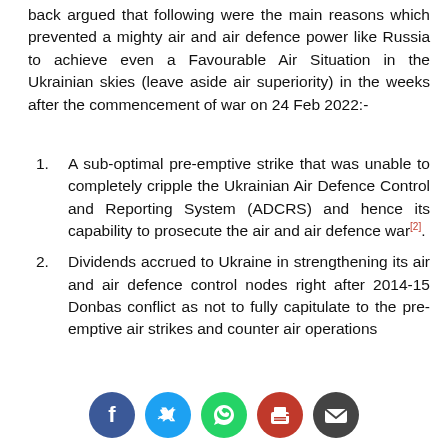back argued that following were the main reasons which prevented a mighty air and air defence power like Russia to achieve even a Favourable Air Situation in the Ukrainian skies (leave aside air superiority) in the weeks after the commencement of war on 24 Feb 2022:-
A sub-optimal pre-emptive strike that was unable to completely cripple the Ukrainian Air Defence Control and Reporting System (ADCRS) and hence its capability to prosecute the air and air defence war[2].
Dividends accrued to Ukraine in strengthening its air and air defence control nodes right after 2014-15 Donbas conflict as not to fully capitulate to the pre-emptive air strikes and counter air operations
[Figure (infographic): Social media share buttons: Facebook (blue), Twitter (light blue), WhatsApp (green), Print (red), Email (dark grey)]